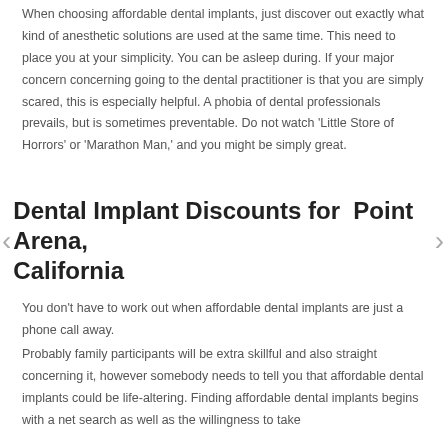When choosing affordable dental implants, just discover out exactly what kind of anesthetic solutions are used at the same time. This need to place you at your simplicity. You can be asleep during. If your major concern concerning going to the dental practitioner is that you are simply scared, this is especially helpful. A phobia of dental professionals prevails, but is sometimes preventable. Do not watch 'Little Store of Horrors' or 'Marathon Man,' and you might be simply great.
Dental Implant Discounts for  Point Arena, California
You don't have to work out when affordable dental implants are just a phone call away.
Probably family participants will be extra skillful and also straight concerning it, however somebody needs to tell you that affordable dental implants could be life-altering. Finding affordable dental implants begins with a net search as well as the willingness to take